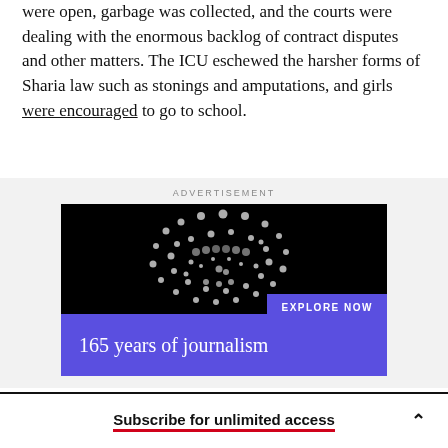were open, garbage was collected, and the courts were dealing with the enormous backlog of contract disputes and other matters. The ICU eschewed the harsher forms of Sharia law such as stonings and amputations, and girls were encouraged to go to school.
[Figure (other): Advertisement banner featuring a halftone portrait of a person with glasses on a black background, a purple 'EXPLORE NOW' button, and a blue bar reading '165 years of journalism that shapes history']
Subscribe for unlimited access